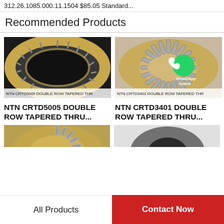312.26.1085.000.11.1504 $85.05 Standard...
Recommended Products
[Figure (photo): NTN CRTD5005 double row tapered thrust bearing, gold/brass colored ring with rollers, top view on dark background]
NTN CRTD5005 DOUBLE ROW TAPERED THR
NTN CRTD5005 DOUBLE ROW TAPERED THRU...
[Figure (photo): NTN CRTD3401 double row tapered thrust bearing, gold/brass colored ring with cylindrical rollers, with WhatsApp Online overlay icon]
NTN CRTD3401 DOUBLE ROW TAPERED THR
NTN CRTD3401 DOUBLE ROW TAPERED THRU...
[Figure (photo): Partial view of a gold/brass bearing at bottom left]
[Figure (photo): Partial view of a dark bearing at bottom right]
All Products
Contact Now